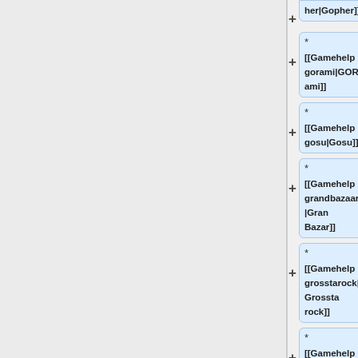* [[Gamehelpgopher|Gopher]]
* [[Gamehelpgorami|GORami]]
* [[Gamehelpgosu|Gosu]]
* [[Gamehelpgrandbazaar|Gran Bazar]]
* [[Gamehelpgrosstarock|Grossta rock]]
* [[Gamehelpguildes|Guildes]]